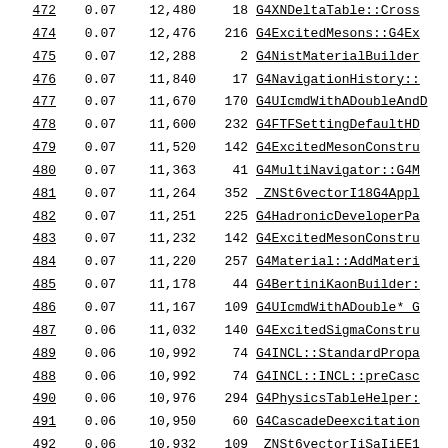| # | pct | bytes | calls | function |
| --- | --- | --- | --- | --- |
| 472 | 0.07 | 12,480 | 18 | G4XNDeltaTable::Cross... |
| 474 | 0.07 | 12,476 | 216 | G4ExcitedMesons::G4Ex... |
| 475 | 0.07 | 12,288 | 2 | G4NistMaterialBuilder... |
| 476 | 0.07 | 11,840 | 17 | G4NavigationHistory::... |
| 477 | 0.07 | 11,670 | 170 | G4UIcmdWithADoubleAndD... |
| 478 | 0.07 | 11,600 | 232 | G4FTFSettingDefaultHD... |
| 479 | 0.07 | 11,520 | 142 | G4ExcitedMesonConstru... |
| 480 | 0.07 | 11,363 | 41 | G4MultiNavigator::G4M... |
| 481 | 0.07 | 11,264 | 352 | _ZNSt6vectorI18G4Appl... |
| 482 | 0.07 | 11,251 | 225 | G4HadronicDeveloperPa... |
| 483 | 0.07 | 11,232 | 142 | G4ExcitedMesonConstru... |
| 484 | 0.07 | 11,220 | 257 | G4Material::AddMateri... |
| 485 | 0.07 | 11,178 | 44 | G4BertiniKaonBuilder:... |
| 486 | 0.07 | 11,167 | 109 | G4UIcmdWithADouble* G... |
| 487 | 0.06 | 11,032 | 140 | G4ExcitedSigmaConstru... |
| 489 | 0.06 | 10,992 | 74 | G4INCL::StandardPropa... |
| 488 | 0.06 | 10,992 | 74 | G4INCL::INCL::preCasc... |
| 490 | 0.06 | 10,976 | 294 | G4PhysicsTableHelper:... |
| 491 | 0.06 | 10,950 | 60 | G4CascadeDeexcitation... |
| 492 | 0.06 | 10,932 | 109 | _ZNSt6vectorIiSaIiEE1... |
| 493 | 0.06 | 10,864 | 42 | G4IonFluctuations::G4... |